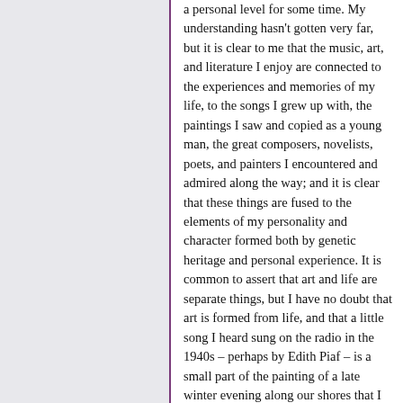a personal level for some time. My understanding hasn't gotten very far, but it is clear to me that the music, art, and literature I enjoy are connected to the experiences and memories of my life, to the songs I grew up with, the paintings I saw and copied as a young man, the great composers, novelists, poets, and painters I encountered and admired along the way; and it is clear that these things are fused to the elements of my personality and character formed both by genetic heritage and personal experience. It is common to assert that art and life are separate things, but I have no doubt that art is formed from life, and that a little song I heard sung on the radio in the 1940s – perhaps by Edith Piaf – is a small part of the painting of a late winter evening along our shores that I have been struggling with in my halting, amateur way.
Mu Xin's life and experiences encompass so many worlds and so